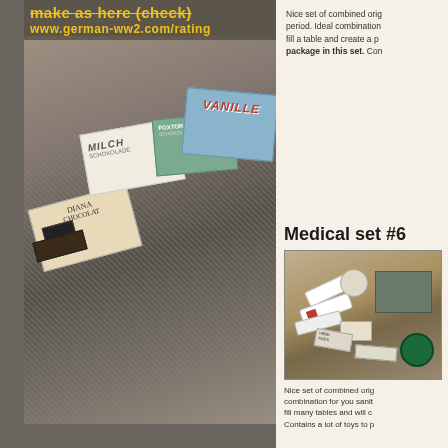[Figure (photo): Yellow text overlay showing crossed-out price text and URL www.german-ww2.com/rating above a photo of German WW2 era chocolate bar packages including Diana Chocolat, Milch, and Vanille brands arranged on a military canvas background]
Nice set of combined original items from the period. Ideal combination for you to fill a table and create a period display. One package in this set. Con...
Medical set #6
[Figure (photo): Photo of German WW2 medical set items including medical tubes, bandages, small boxes, and various medical supplies arranged on a military canvas background]
Nice set of combined original items combination for you sanit... fill many tables and will c... Contains a lot of toys to p...